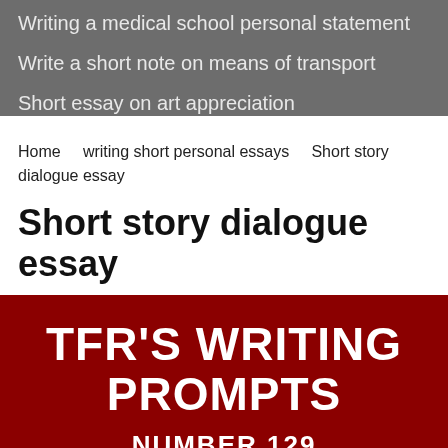Writing a medical school personal statement
Write a short note on means of transport
Short essay on art appreciation
Home   writing short personal essays   Short story dialogue essay
Short story dialogue essay
[Figure (infographic): Dark red banner with bold white text reading TFR'S WRITING PROMPTS and NUMBER 129 below it]